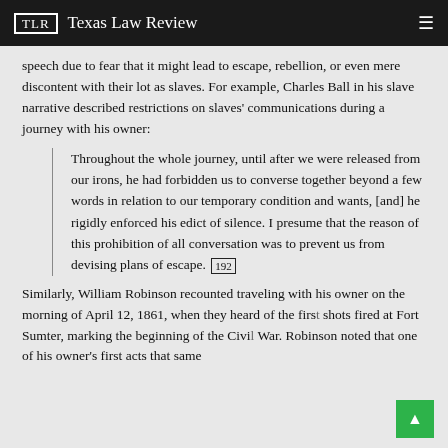TLR  Texas Law Review
speech due to fear that it might lead to escape, rebellion, or even mere discontent with their lot as slaves. For example, Charles Ball in his slave narrative described restrictions on slaves' communications during a journey with his owner:
Throughout the whole journey, until after we were released from our irons, he had forbidden us to converse together beyond a few words in relation to our temporary condition and wants, [and] he rigidly enforced his edict of silence. I presume that the reason of this prohibition of all conversation was to prevent us from devising plans of escape. [192]
Similarly, William Robinson recounted traveling with his owner on the morning of April 12, 1861, when they heard of the first shots fired at Fort Sumter, marking the beginning of the Civil War. Robinson noted that one of his owner's first acts that same